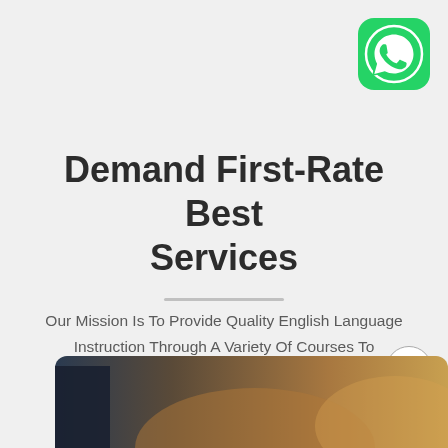[Figure (logo): WhatsApp icon — green rounded square with white phone/chat bubble symbol]
Demand First-Rate Best Services
Our Mission Is To Provide Quality English Language Instruction Through A Variety Of Courses To International
[Figure (photo): Partial photo of people/students at bottom of page, warm tones with dark figure on left]